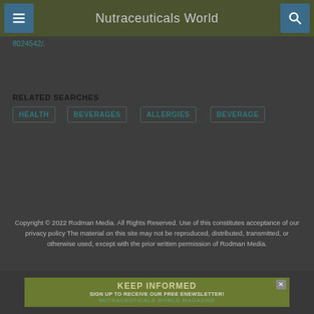Nutraceuticals World
8024542/.
RELATED SEARCHES
HEALTH
BEVERAGES
ALLERGIES
BEVERAGE
Copyright © 2022 Rodman Media. All Rights Reserved. Use of this constitutes acceptance of our privacy policy The material on this site may not be reproduced, distributed, transmitted, or otherwise used, except with the prior written permission of Rodman Media.
[Figure (infographic): Newsletter signup banner: KEEP INFORMED - SIGN UP TO RECEIVE OUR FREE ENEWSLETTER! NUTRACEUTICALS WORLD MAGAZINE]